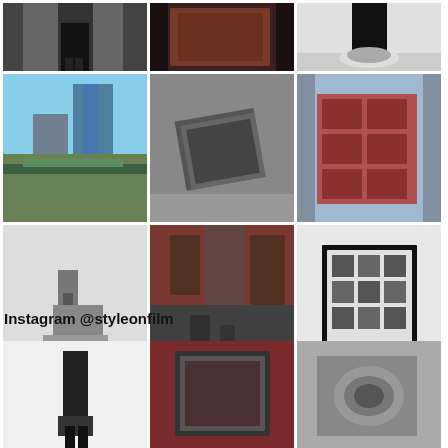[Figure (photo): 3x3 grid of Instagram photos: row 1 (person in museum/gallery, dark painting in gallery, person with white sculpture on floor), row 2 (Barbican Centre architecture with water and greenery, dark metallic sculptural cube object, red-brick Victorian building), row 3 (concrete block sculpture in gallery, red-brick street buildings in city, framed grid artwork on white wall)]
Instagram @styleonfilm
[Figure (photo): 3 Instagram photos (partial, bottom of page): small dark sculpture on white wall, dark framed mirror/painting on deep red wall, arched architectural detail in monochrome]